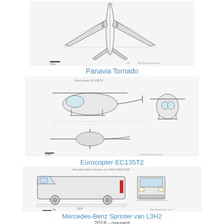[Figure (engineering-diagram): Blueprint technical drawing of Panavia Tornado jet aircraft, top and side view with dimension lines, watermark the-blueprints.com]
Panavia Tornado
[Figure (engineering-diagram): Blueprint technical drawing of Eurocopter EC135T2 helicopter, side view, front view, and top view with dimension lines, watermark the-blueprints.com]
Eurocopter EC135T2
[Figure (engineering-diagram): Blueprint technical drawing of Mercedes-Benz Sprinter van L3H2 (2018-present), side view, front view, top view, and rear view with dimension lines, watermark the-blueprints.com]
Mercedes-Benz Sprinter van L3H2
2018 - present